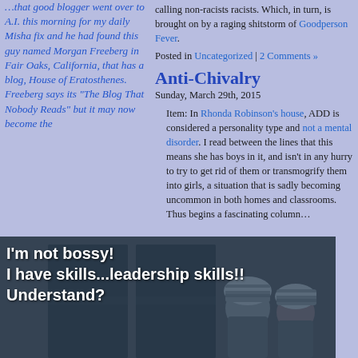...that good blogger went over to A.I. this morning for my daily Misha fix and he had found this guy named Morgan Freeberg in Fair Oaks, California, that has a blog, House of Eratosthenes. Freeberg says its "The Blog That Nobody Reads" but it may now become the...
calling non-racists racists. Which, in turn, is brought on by a raging shitstorm of Goodperson Fever.
Posted in Uncategorized | 2 Comments »
Anti-Chivalry
Sunday, March 29th, 2015
Item: In Rhonda Robinson's house, ADD is considered a personality type and not a mental disorder. I read between the lines that this means she has boys in it, and isn't in any hurry to try to get rid of them or transmogrify them into girls, a situation that is sadly becoming uncommon in both homes and classrooms. Thus begins a fascinating column…
[Figure (photo): Black and white / blue-tinted vintage photo of two children wearing knit hats, with overlaid text reading: I'm not bossy! I have skills...leadership skills!! Understand?]